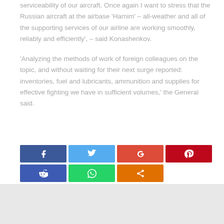serviceability of our aircraft. Once again I want to stress that the Russian aircraft at the airbase 'Hamim' – all-weather and all of the supporting services of our airline are working smoothly, reliably and efficiently', – said Konashenkov.

'Analyzing the methods of work of foreign colleagues on the topic, and without waiting for their next surge reported: inventories, fuel and lubricants, ammunition and supplies for effective fighting we have in sufficient volumes,' the General said.
[Figure (infographic): Social sharing buttons: Facebook, Twitter, Google+, Pinterest (top row); Reddit, WhatsApp, Share (bottom row)]